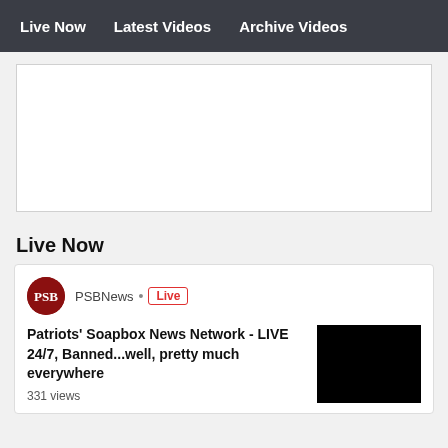Live Now   Latest Videos   Archive Videos
[Figure (screenshot): Embedded video player area, white background]
Live Now
PSBNews • Live
Patriots' Soapbox News Network - LIVE 24/7, Banned...well, pretty much everywhere
331 views